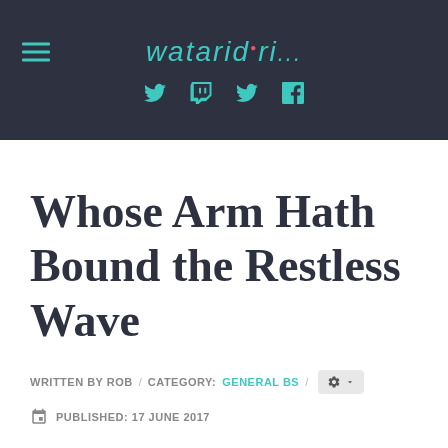wataridori... [navigation menu and social icons: Twitter, Twitch, Twitter/another, Facebook]
Whose Arm Hath Bound the Restless Wave
WRITTEN BY ROB / CATEGORY: GENERAL BS /
PUBLISHED: 17 JUNE 2017